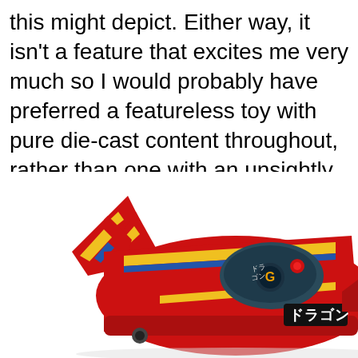this might depict. Either way, it isn't a feature that excites me very much so I would probably have preferred a featureless toy with pure die-cast content throughout, rather than one with an unsightly gap.
[Figure (photo): A red die-cast toy vehicle (appears to be a futuristic race car/spacecraft) with yellow and blue stripe accents, a dark teal cockpit area with a red knob or joystick, and Japanese text (katakana: ドラゴン meaning 'Dragon') on the side. The vehicle has distinctive bat-wing style rear fins. Photographed against a white background.]